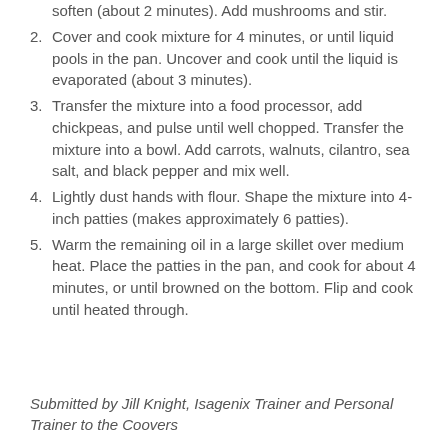soften (about 2 minutes). Add mushrooms and stir.
2. Cover and cook mixture for 4 minutes, or until liquid pools in the pan. Uncover and cook until the liquid is evaporated (about 3 minutes).
3. Transfer the mixture into a food processor, add chickpeas, and pulse until well chopped. Transfer the mixture into a bowl. Add carrots, walnuts, cilantro, sea salt, and black pepper and mix well.
4. Lightly dust hands with flour. Shape the mixture into 4-inch patties (makes approximately 6 patties).
5. Warm the remaining oil in a large skillet over medium heat. Place the patties in the pan, and cook for about 4 minutes, or until browned on the bottom. Flip and cook until heated through.
Submitted by Jill Knight, Isagenix Trainer and Personal Trainer to the Coovers